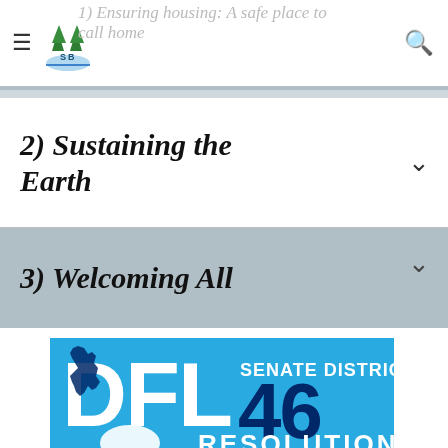1) Ensuring housing: A safe place to call home
2) Sustaining the Earth
3) Welcoming All
[Figure (logo): DFL Senate District 46 Resolution logo with Minnesota state outline and blue/white color scheme]